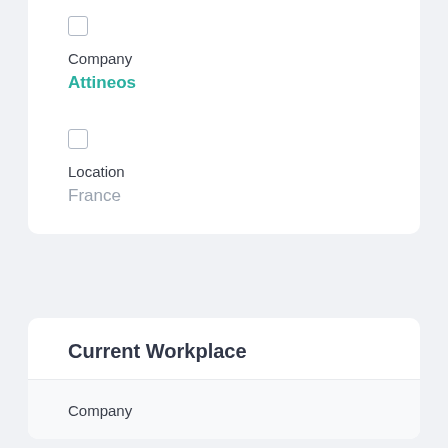Company
Attineos
Location
France
Current Workplace
Company